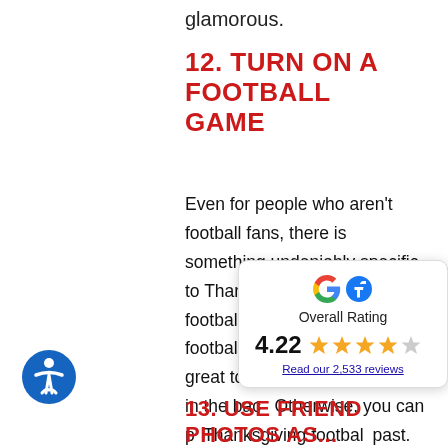glamorous.
12. TURN ON A FOOTBALL GAME
Even for people who aren't football fans, there is something undeniably specific to Thanksgiving about a football game. If there's a football game on, then it's great to have some football on in the bac[kground]. Otherwise, you can p[lay] Thanksgiving footbal[l games from the] past.
[Figure (infographic): Google and Facebook rating widget showing Overall Rating of 4.22 out of 5 stars with 2,533 reviews.]
13. USE FRIEND PHOTOS AS...